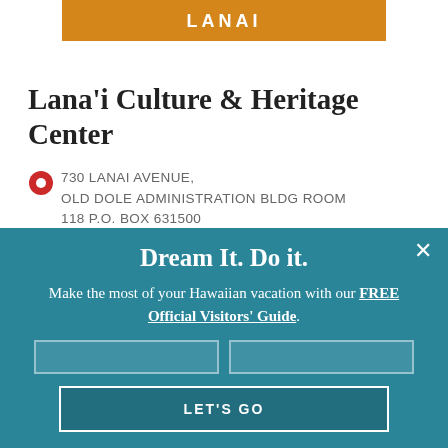LANAI
Lana'i Culture & Heritage Center
730 LANAI AVENUE, OLD DOLE ADMINISTRATION BLDG ROOM 118 P.O. BOX 631500 LANAI CITY, HI 96763
The Lana'i Culture & Heritage Center, a community museum, seeks to inspire people to be informed, [...]
Learn More →
BACK TO TOP
Dream It. Do it.
Make the most of your Hawaiian vacation with our FREE Official Visitors' Guide.
LET'S GO